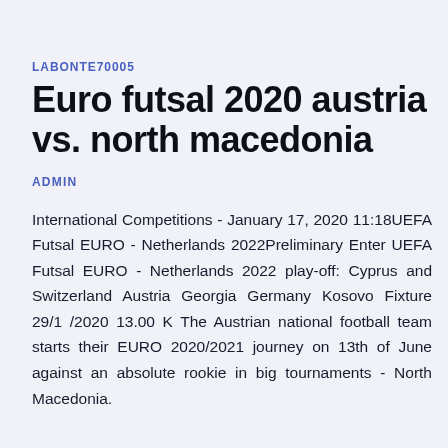LABONTE70005
Euro futsal 2020 austria vs. north macedonia
ADMIN
International Competitions - January 17, 2020 11:18UEFA Futsal EURO - Netherlands 2022Preliminary Enter UEFA Futsal EURO - Netherlands 2022 play-off: Cyprus and Switzerland Austria Georgia Germany Kosovo Fixture 29/1 /2020 13.00 K The Austrian national football team starts their EURO 2020/2021 journey on 13th of June against an absolute rookie in big tournaments - North Macedonia.